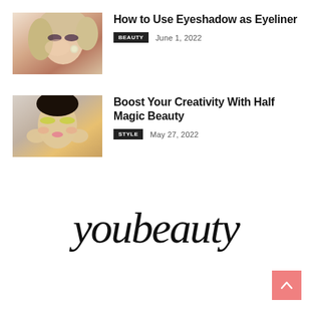[Figure (photo): Woman with dramatic eye makeup and jewelry touching her face]
How to Use Eyeshadow as Eyeliner
BEAUTY   June 1, 2022
[Figure (photo): Woman with colorful eye makeup holding her face with both hands]
Boost Your Creativity With Half Magic Beauty
STYLE   May 27, 2022
[Figure (logo): youbeauty script logo]
[Figure (other): Back to top arrow button in pink]